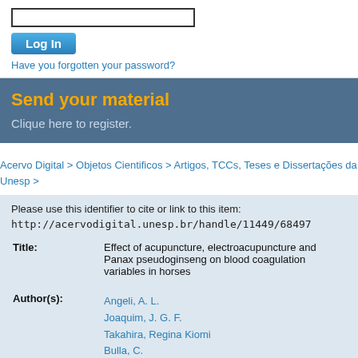[Figure (screenshot): Login input field (text box)]
Log In
Have you forgotten your password?
Send your material
Clique here to register.
Acervo Digital > Objetos Cientificos > Artigos, TCCs, Teses e Dissertações da Unesp >
Please use this identifier to cite or link to this item:
http://acervodigital.unesp.br/handle/11449/68497
| Field | Value |
| --- | --- |
| Title: | Effect of acupuncture, electroacupuncture and Panax pseudoginseng on blood coagulation variables in horses |
| Author(s): | Angeli, A. L.
Joaquim, J. G. F.
Takahira, Regina Kiomi
Bulla, C. |